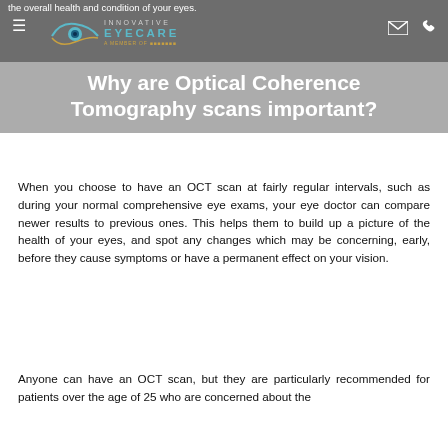the overall health and condition of your eyes.
[Figure (logo): Innovative Eyecare logo with stylized eye graphic and text 'INNOVATIVE EYECARE A MEMBER OF [group]']
Why are Optical Coherence Tomography scans important?
When you choose to have an OCT scan at fairly regular intervals, such as during your normal comprehensive eye exams, your eye doctor can compare newer results to previous ones. This helps them to build up a picture of the health of your eyes, and spot any changes which may be concerning, early, before they cause symptoms or have a permanent effect on your vision.
Anyone can have an OCT scan, but they are particularly recommended for patients over the age of 25 who are concerned about the